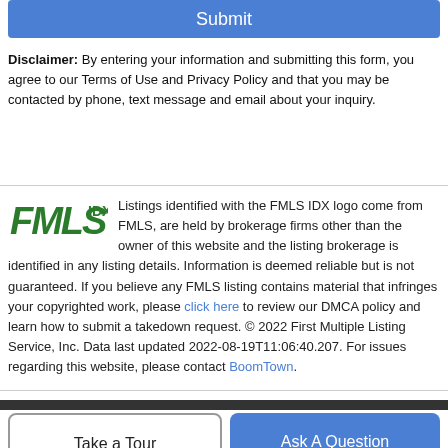[Figure (other): Blue Submit button at top of page]
Disclaimer: By entering your information and submitting this form, you agree to our Terms of Use and Privacy Policy and that you may be contacted by phone, text message and email about your inquiry.
[Figure (logo): FMLS IDX logo in green italic bold text]
Listings identified with the FMLS IDX logo come from FMLS, are held by brokerage firms other than the owner of this website and the listing brokerage is identified in any listing details. Information is deemed reliable but is not guaranteed. If you believe any FMLS listing contains material that infringes your copyrighted work, please click here to review our DMCA policy and learn how to submit a takedown request. © 2022 First Multiple Listing Service, Inc. Data last updated 2022-08-19T11:06:40.207. For issues regarding this website, please contact BoomTown.
[Figure (other): Take a Tour and Ask A Question buttons at the bottom]